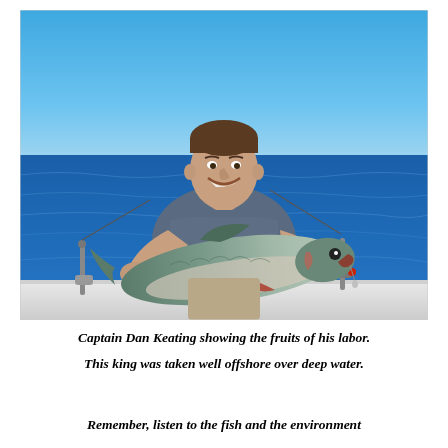[Figure (photo): A smiling man standing on a boat on open blue water, holding a large salmon or king fish with both hands outstretched. The sky is clear blue and the ocean is calm. Fishing rod holders and equipment are visible on the boat.]
Captain Dan Keating showing the fruits of his labor. This king was taken well offshore over deep water.
Remember, listen to the fish and the environment